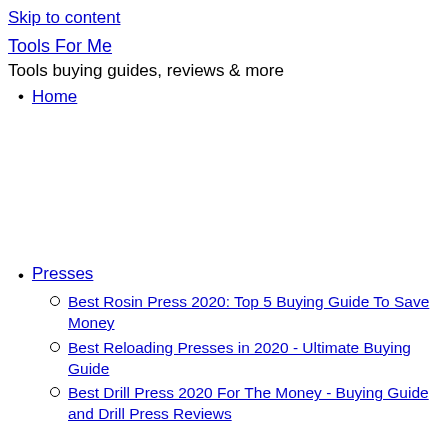Skip to content
Tools For Me
Tools buying guides, reviews & more
Home
Presses
Best Rosin Press 2020: Top 5 Buying Guide To Save Money
Best Reloading Presses in 2020 - Ultimate Buying Guide
Best Drill Press 2020 For The Money - Buying Guide and Drill Press Reviews